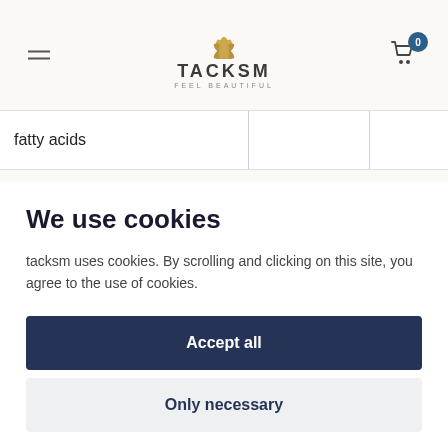[Figure (logo): TACKSM logo with golden lotus flower and tagline FEEL BEAUTIFUL]
| fatty acids |  |  |
We use cookies
tacksm uses cookies. By scrolling and clicking on this site, you agree to the use of cookies.
Accept all
Only necessary